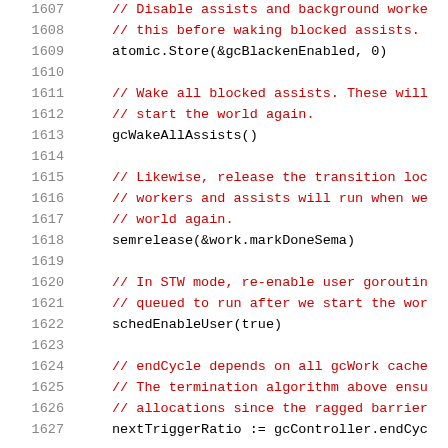[Figure (screenshot): Source code screenshot showing Go runtime garbage collector code, lines 1607-1627+, with line numbers on left and code/comments in monospace font. Comments are in red/dark red, code statements in black.]